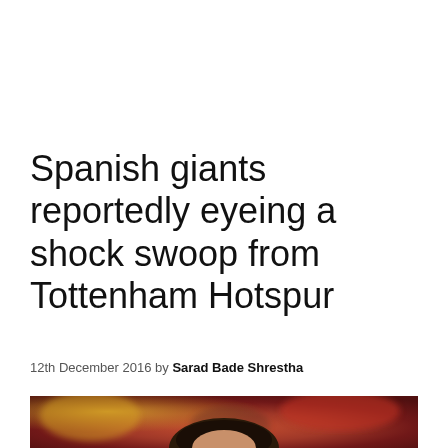Spanish giants reportedly eyeing a shock swoop from Tottenham Hotspur
12th December 2016 by Sarad Bade Shrestha
[Figure (photo): Photo of a footballer (partially visible, shot from below chin level) against a blurred crowd background with yellow and red colors]